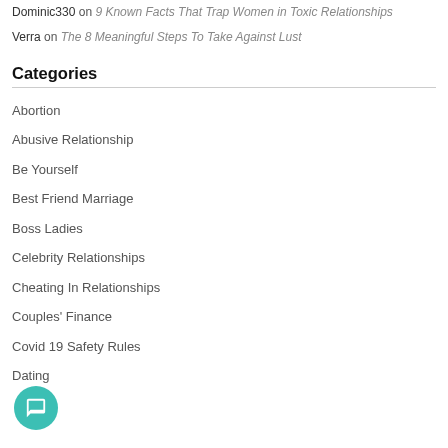Dominic330 on 9 Known Facts That Trap Women in Toxic Relationships
Verra on The 8 Meaningful Steps To Take Against Lust
Categories
Abortion
Abusive Relationship
Be Yourself
Best Friend Marriage
Boss Ladies
Celebrity Relationships
Cheating In Relationships
Couples' Finance
Covid 19 Safety Rules
Dating